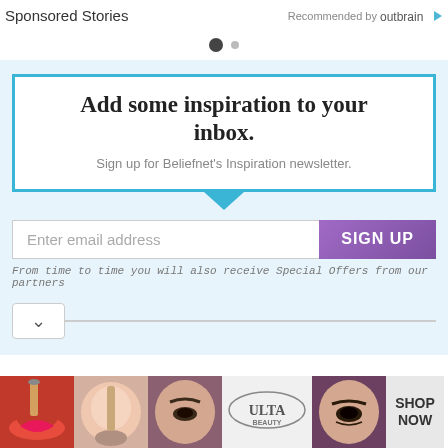Sponsored Stories    Recommended by Outbrain
[Figure (other): Pagination dots: one filled dark circle and one smaller grey circle]
Add some inspiration to your inbox.
Sign up for Beliefnet's Inspiration newsletter.
Enter email address   SIGN UP
From time to time you will also receive Special Offers from our partners
[Figure (other): Accordion chevron down button with a horizontal dividing line]
[Figure (other): ULTA beauty advertisement banner with makeup images and SHOP NOW button]